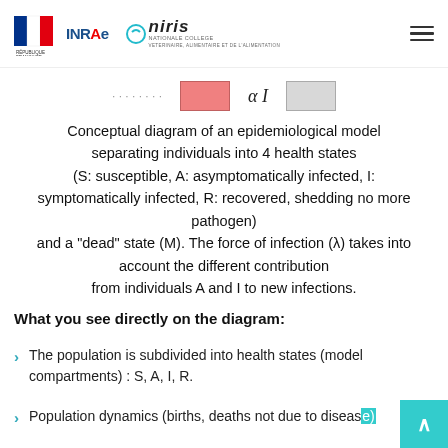République Française | INRAE | Oniris
[Figure (other): Legend strip showing a pink/red filled rectangle, the symbol alpha (α), and a gray filled rectangle, with partial text labels above them.]
Conceptual diagram of an epidemiological model separating individuals into 4 health states (S: susceptible, A: asymptomatically infected, I: symptomatically infected, R: recovered, shedding no more pathogen) and a "dead" state (M). The force of infection (λ) takes into account the different contribution from individuals A and I to new infections.
What you see directly on the diagram:
The population is subdivided into health states (model compartments) : S, A, I, R.
Population dynamics (births, deaths not due to disease)